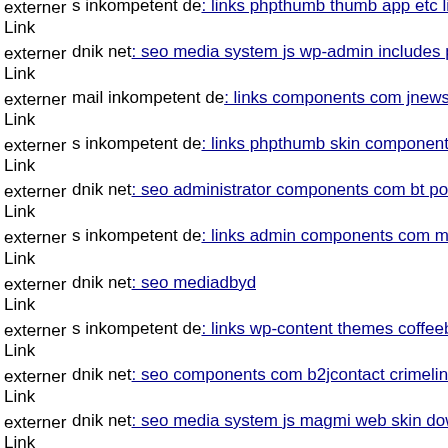externer Link: s inkompetent de: links phpthumb thumb app etc links wp-c...
externer Link: dnik net: seo media system js wp-admin includes plugins co...
externer Link: mail inkompetent de: links components com jnewsletter inc...
externer Link: s inkompetent de: links phpthumb skin components com b2...
externer Link: dnik net: seo administrator components com bt portfolio co...
externer Link: s inkompetent de: links admin components com mediawb
externer Link: dnik net: seo mediadbyd
externer Link: s inkompetent de: links wp-content themes coffeebreak fram...
externer Link: dnik net: seo components com b2jcontact crimelink php
externer Link: dnik net: seo media system js magmi web skin downloader
externer Link: dnik net: seo wp-content themes forum components com b2...
externer Link: dnik net: seo media system js index php